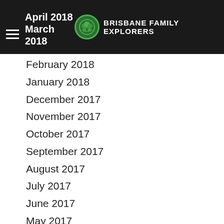Brisbane Family Explorers — April 2018 / March 2018
February 2018
January 2018
December 2017
November 2017
October 2017
September 2017
August 2017
July 2017
June 2017
May 2017
April 2017
March 2017
February 2017
January 2017
December 2016
November 2016
October 2016